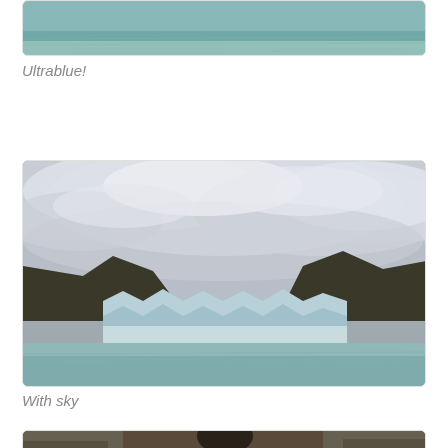[Figure (photo): Partial view of a glacier on turquoise water, top portion cropped]
Ultrablue!
[Figure (photo): Glacier with dramatic cloudy sky above, mountains on either side, turquoise glacial lake in foreground]
With sky
[Figure (photo): Bottom partial photo showing person in front of rocky cliff face]